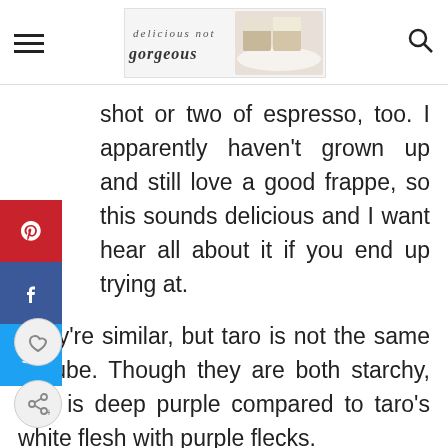delicious not gorgeous
shot or two of espresso, too. I apparently haven't grown up and still love a good frappe, so this sounds delicious and I want hear all about it if you end up trying at.
They're similar, but taro is not the same as ube. Though they are both starchy, ube is deep purple compared to taro's white flesh with purple flecks.